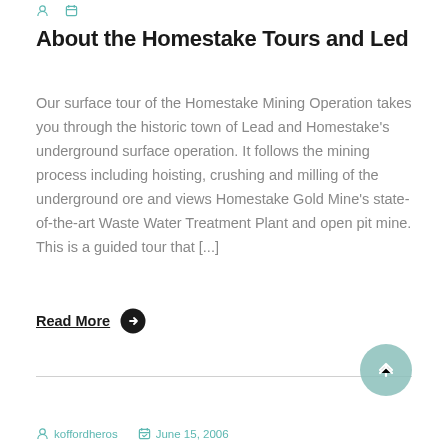About the Homestake Tours and Led
Our surface tour of the Homestake Mining Operation takes you through the historic town of Lead and Homestake's underground surface operation. It follows the mining process including hoisting, crushing and milling of the underground ore and views Homestake Gold Mine's state-of-the-art Waste Water Treatment Plant and open pit mine. This is a guided tour that [...]
Read More
koffordheros  June 15, 2006